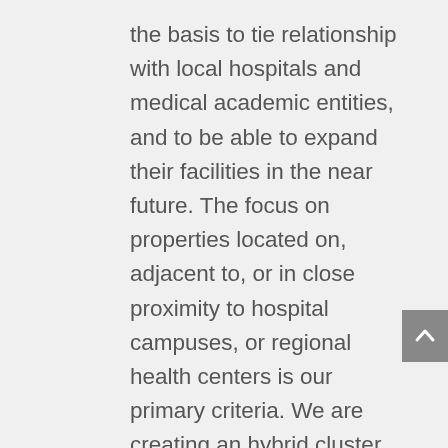the basis to tie relationship with local hospitals and medical academic entities, and to be able to expand their facilities in the near future. The focus on properties located on, adjacent to, or in close proximity to hospital campuses, or regional health centers is our primary criteria. We are creating an hybrid cluster of assets with the intention, that once matures (within approximately 5 years), it will become a great interest to